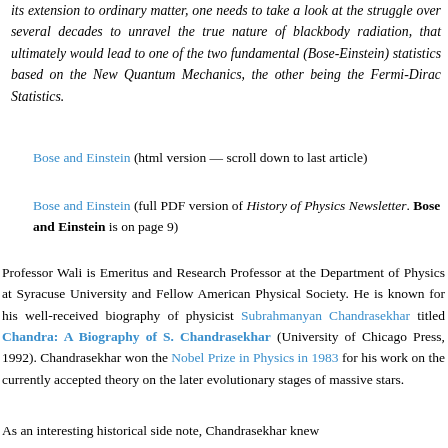its extension to ordinary matter, one needs to take a look at the struggle over several decades to unravel the true nature of blackbody radiation, that ultimately would lead to one of the two fundamental (Bose-Einstein) statistics based on the New Quantum Mechanics, the other being the Fermi-Dirac Statistics.
Bose and Einstein (html version — scroll down to last article)
Bose and Einstein (full PDF version of History of Physics Newsletter. Bose and Einstein is on page 9)
Professor Wali is Emeritus and Research Professor at the Department of Physics at Syracuse University and Fellow American Physical Society. He is known for his well-received biography of physicist Subrahmanyan Chandrasekhar titled Chandra: A Biography of S. Chandrasekhar (University of Chicago Press, 1992). Chandrasekhar won the Nobel Prize in Physics in 1983 for his work on the currently accepted theory on the later evolutionary stages of massive stars.
As an interesting historical side note, Chandrasekhar knew